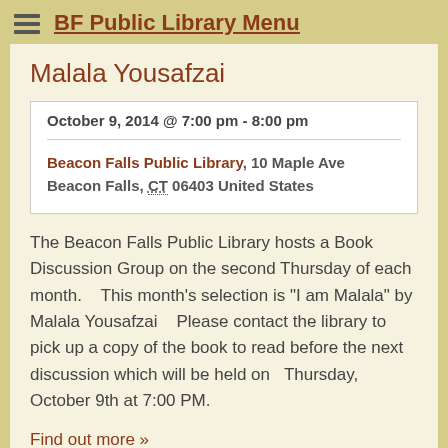BF Public Library Menu
Malala Yousafzai
October 9, 2014 @ 7:00 pm - 8:00 pm
Beacon Falls Public Library, 10 Maple Ave Beacon Falls, CT 06403 United States
The Beacon Falls Public Library hosts a Book Discussion Group on the second Thursday of each month.    This month's selection is "I am Malala" by Malala Yousafzai    Please contact the library to pick up a copy of the book to read before the next discussion which will be held on    Thursday, October 9th at 7:00 PM.
Find out more »